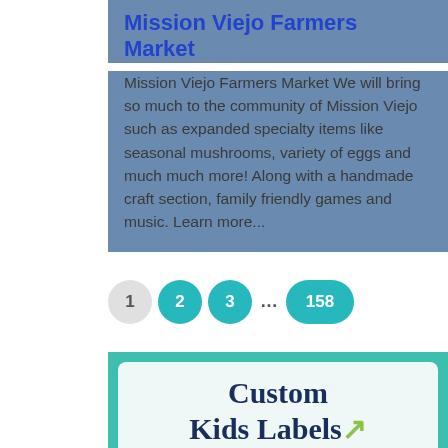Mission Viejo Farmers Market
Mission Viejo Farmers Market We will bring so much to the community of Mission Viejo such as expanded specialty items like seasonal mushrooms, variety of eggs and much much more! Along with a handmade craft section, family friendly games and music. Learn more...
1 2 3 … 158
[Figure (illustration): Custom Kids Labels promotional card with teal background and white rounded inner card showing the text 'Custom Kids Labels']